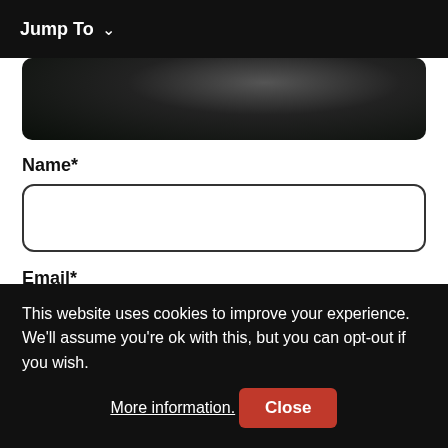Jump To ∨
[Figure (photo): Partial photo of a dark, shadowy scene — appears to show a figure or animal in low-light outdoor setting.]
Name*
Email*
I consent to my personal information being processed in
This website uses cookies to improve your experience. We'll assume you're ok with this, but you can opt-out if you wish. More information. Close